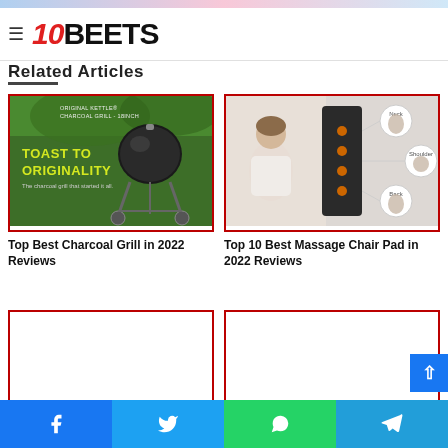10BEETS
Related Articles
[Figure (photo): Charcoal grill on green grass with text 'Toast to Originality - The charcoal grill that started it all']
Top Best Charcoal Grill in 2022 Reviews
[Figure (photo): Massage chair pad product image showing a woman sitting and product diagram with body zones highlighted]
Top 10 Best Massage Chair Pad in 2022 Reviews
[Figure (photo): Empty article card image placeholder (left)]
[Figure (photo): Empty article card image placeholder (right)]
Facebook | Twitter | WhatsApp | Telegram